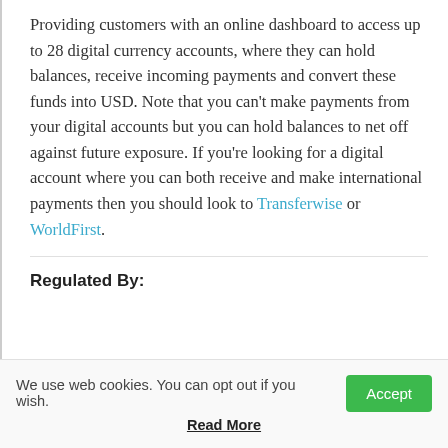Providing customers with an online dashboard to access up to 28 digital currency accounts, where they can hold balances, receive incoming payments and convert these funds into USD. Note that you can't make payments from your digital accounts but you can hold balances to net off against future exposure. If you're looking for a digital account where you can both receive and make international payments then you should look to Transferwise or WorldFirst.
Regulated By:
We use web cookies. You can opt out if you wish.
Read More